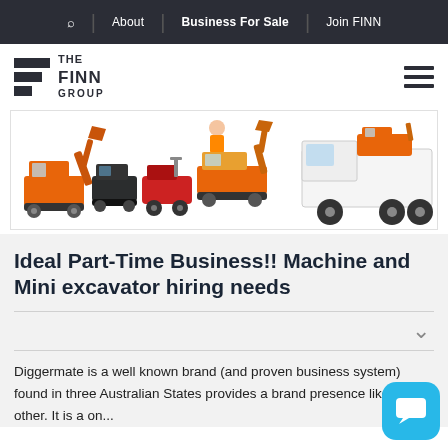About | Business For Sale | Join FINN
[Figure (logo): The Finn Group logo with three dark rectangles and text THE FINN GROUP]
[Figure (illustration): Illustration of various construction and excavator machinery including mini excavators, skid steers, and a large truck]
Ideal Part-Time Business!! Machine and Mini excavator hiring needs
Diggermate is a well known brand (and proven business system) found in three Australian States provides a brand presence like no other. It is a on...